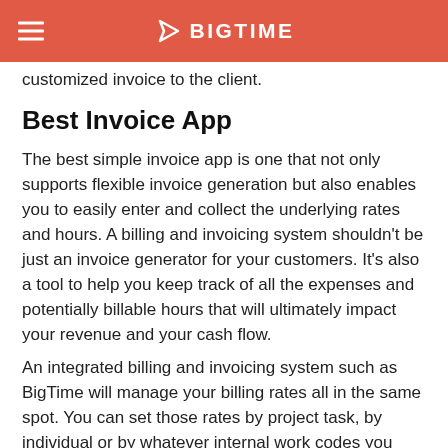BIGTIME
customized invoice to the client.
Best Invoice App
The best simple invoice app is one that not only supports flexible invoice generation but also enables you to easily enter and collect the underlying rates and hours. A billing and invoicing system shouldn't be just an invoice generator for your customers. It's also a tool to help you keep track of all the expenses and potentially billable hours that will ultimately impact your revenue and your cash flow.
An integrated billing and invoicing system such as BigTime will manage your billing rates all in the same spot. You can set those rates by project task, by individual or by whatever internal work codes you use. There's no limit to how many